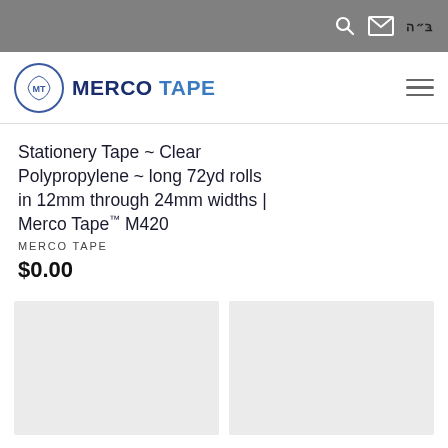בּ״ה
[Figure (logo): Merco Tape logo with circular emblem and blue text reading MERCO TAPE]
Stationery Tape ~ Clear Polypropylene ~ long 72yd rolls in 12mm through 24mm widths | Merco Tape™ M420
MERCO TAPE
$0.00
[Figure (photo): Product image placeholder (light gray box)]
[Figure (photo): Product image placeholder (light gray box)]